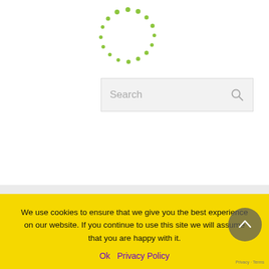[Figure (logo): Green dotted circular logo made of small green dots arranged in a circle pattern]
[Figure (screenshot): Search bar with placeholder text 'Search' and a magnifying glass icon on the right]
Don't miss out on regular updates, contests and giveaways - Sign up to our Newsletter today!
We use cookies to ensure that we give you the best experience on our website. If you continue to use this site we will assume that you are happy with it.
Ok   Privacy Policy